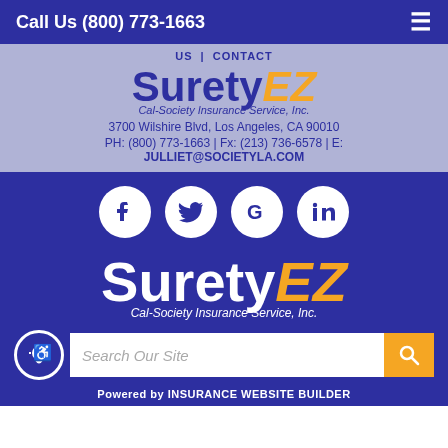Call Us (800) 773-1663
US | CONTACT
[Figure (logo): SuretyEZ Cal-Society Insurance Service, Inc. logo with blue Surety text and orange italic EZ]
3700 Wilshire Blvd, Los Angeles, CA 90010
PH: (800) 773-1663 | Fx: (213) 736-6578 | E: JULLIET@SOCIETYLA.COM
[Figure (logo): Social media icons: Facebook, Twitter, Google, LinkedIn in white circles on blue background]
[Figure (logo): SuretyEZ Cal-Society Insurance Service, Inc. logo white version on blue background]
Search Our Site
Powered by INSURANCE WEBSITE BUILDER